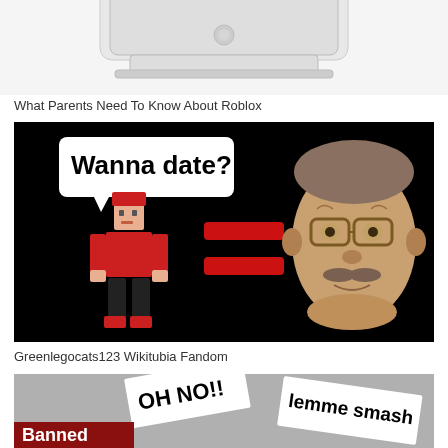[Figure (photo): Partial view of a white device (appears to be a router or similar electronic device) on white background, cropped at top]
What Parents Need To Know About Roblox
[Figure (photo): Meme image on black background showing a Roblox character in red with a speech bubble saying 'Wanna date?' with an equals sign made of two red bars next to a photo of an older man with glasses, implying online predator warning]
Greenlegocats123 Wikitubia Fandom
[Figure (photo): Partial view of a meme image showing text 'OH NO!!' and 'lemme smash' on paper strips, with text 'Banned' partially visible, gray background]